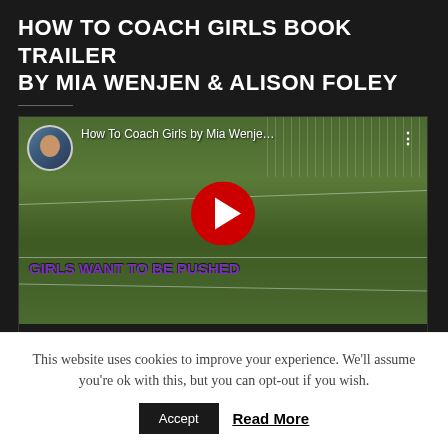HOW TO COACH GIRLS BOOK TRAILER BY MIA WENJEN & ALISON FOLEY
[Figure (screenshot): YouTube video player showing a soccer player on a green field with text overlay 'GIRLS WANT TO BE PUSHED'. Video title 'How To Coach Girls by Mia Wenje...' shown with avatar thumbnail. Play button visible. Controls show 00:00 / 04:05.]
This website uses cookies to improve your experience. We'll assume you're ok with this, but you can opt-out if you wish.
Accept  Read More